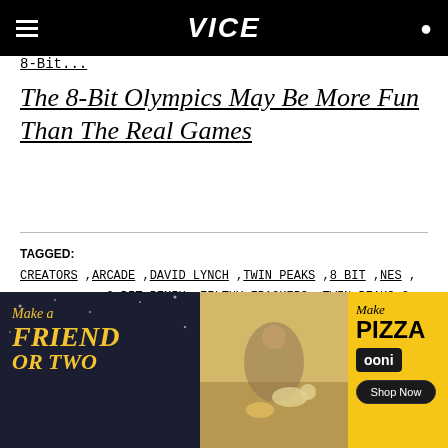VICE
8-Bit...
The 8-Bit Olympics May Be More Fun Than The Real Games
TAGGED: CREATORS, ARCADE, DAVID LYNCH, TWIN PEAKS, 8 BIT, NES, 8-BIT REMIX, FILTHY FRACKERS, TWIN PEAKS 8-BIT
ORIGINAL REPORTING ON EVERYTHING THAT MATTERS IN YOUR INBOX
[Figure (advertisement): Ad banner: left side dark background with 'Make a Friend or Two' in yellow italic script, center outdoor picnic scene with dog, right side yellow background with 'Make Pizza' ooni branding and Shop Now button]